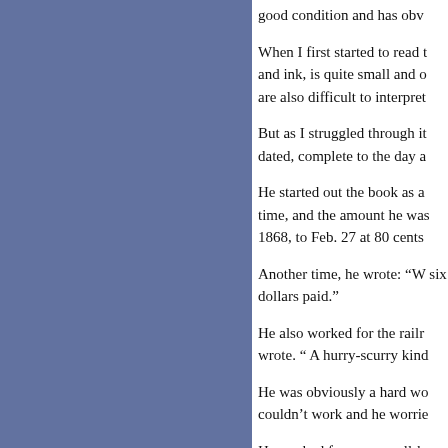good condition and has obv
When I first started to read t and ink, is quite small and o are also difficult to interpret
But as I struggled through it dated, complete to the day a
He started out the book as a time, and the amount he was 1868, to Feb. 27 at 80 cents
Another time, he wrote: “W six dollars paid.”
He also worked for the railr wrote. “ A hurry-scurry kind
He was obviously a hard wo couldn’t work and he worrie
He worked for many well-k Muchmore and Daniel L. H